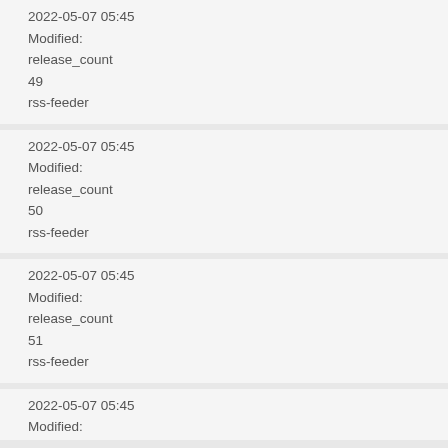2022-05-07 05:45
Modified:
release_count
49
rss-feeder
2022-05-07 05:45
Modified:
release_count
50
rss-feeder
2022-05-07 05:45
Modified:
release_count
51
rss-feeder
2022-05-07 05:45
Modified: